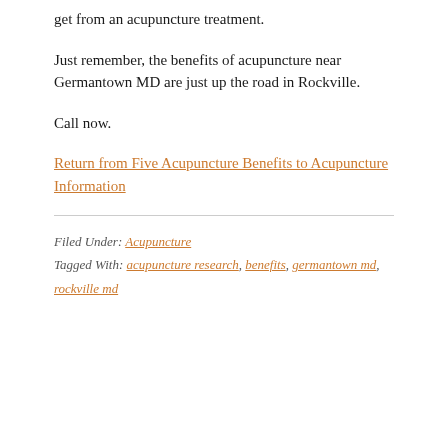get from an acupuncture treatment.
Just remember, the benefits of acupuncture near Germantown MD are just up the road in Rockville.
Call now.
Return from Five Acupuncture Benefits to Acupuncture Information
Filed Under: Acupuncture
Tagged With: acupuncture research, benefits, germantown md, rockville md